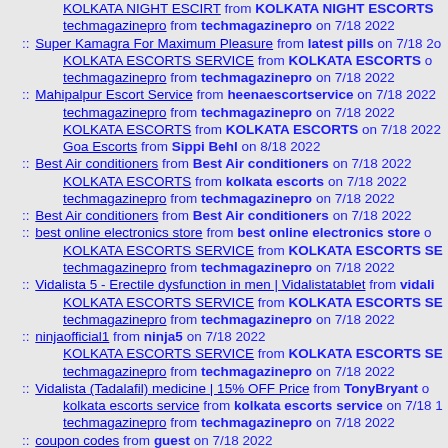KOLKATA NIGHT ESCIRT from KOLKATA NIGHT ESCORTS techmagazinepro from techmagazinepro on 7/18 2022
Super Kamagra For Maximum Pleasure from latest pills on 7/18 20 KOLKATA ESCORTS SERVICE from KOLKATA ESCORTS o techmagazinepro from techmagazinepro on 7/18 2022
Mahipalpur Escort Service from heenaescortservice on 7/18 2022 techmagazinepro from techmagazinepro on 7/18 2022 KOLKATA ESCORTS from KOLKATA ESCORTS on 7/18 2022 Goa Escorts from Sippi Behl on 8/18 2022
Best Air conditioners from Best Air conditioners on 7/18 2022 KOLKATA ESCORTS from kolkata escorts on 7/18 2022 techmagazinepro from techmagazinepro on 7/18 2022
Best Air conditioners from Best Air conditioners on 7/18 2022
best online electronics store from best online electronics store o KOLKATA ESCORTS SERVICE from KOLKATA ESCORTS SE techmagazinepro from techmagazinepro on 7/18 2022
Vidalista 5 - Erectile dysfunction in men | Vidalistatablet from vidali KOLKATA ESCORTS SERVICE from KOLKATA ESCORTS SE techmagazinepro from techmagazinepro on 7/18 2022
ninjaofficial1 from ninja5 on 7/18 2022 KOLKATA ESCORTS SERVICE from KOLKATA ESCORTS SE techmagazinepro from techmagazinepro on 7/18 2022
Vidalista (Tadalafil) medicine | 15% OFF Price from TonyBryant o kolkata escorts service from kolkata escorts service on 7/18 techmagazinepro from techmagazinepro on 7/18 2022
coupon codes from guest on 7/18 2022 kolkata escorts service from kolkata escorts service on 7/18 techmagazinepro from techmagazinepro on 7/18 2022
Escort Service from Chhabra Escort on 7/18 2022 kolkata night escorts from kolkata night escorts on 7/18 2022